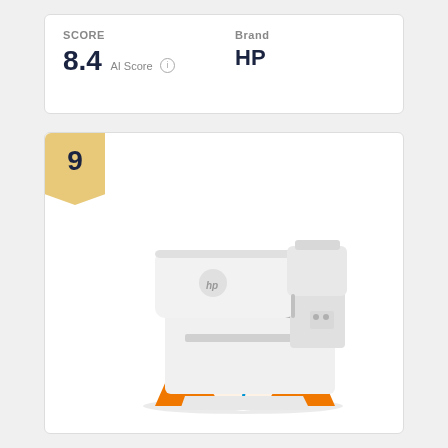SCORE
8.4 AI Score
Brand
HP
9
[Figure (photo): HP all-in-one printer (DeskJet 4155e or similar) in white/gray, with an orange HP+ branded sheet of paper coming out of the front paper tray. The printer has a flatbed scanner lid on top and an automatic document feeder on the upper right.]